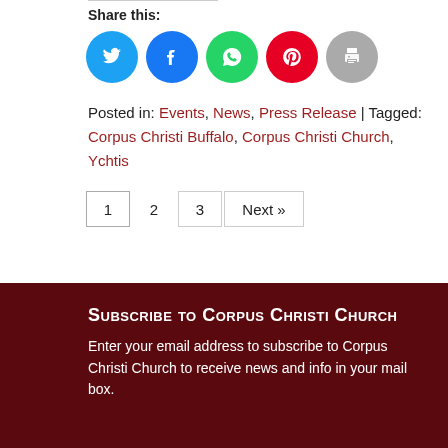Share this:
[Figure (infographic): Five social sharing icon circles: Twitter (blue), Facebook (dark blue), WhatsApp (green), Pinterest (red), Print (grey)]
Posted in: Events, News, Press Release | Tagged: Corpus Christi Buffalo, Corpus Christi Church, Ychtis
1  2  3  Next »
Subscribe to Corpus Christi Church
Enter your email address to subscribe to Corpus Christi Church to receive news and info in your mail box.